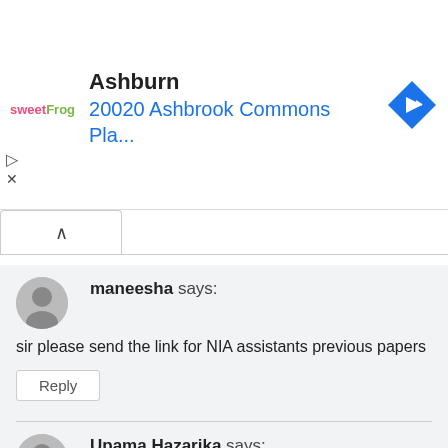[Figure (screenshot): Advertisement banner for sweetFrog showing Ashburn location at 20020 Ashbrook Commons Pla... with a navigation/direction icon]
maneesha says:
sir please send the link for NIA assistants previous papers
Reply
Upama Hazarika says: